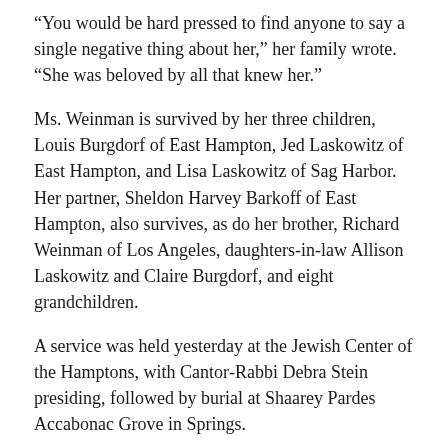“You would be hard pressed to find anyone to say a single negative thing about her,” her family wrote. “She was beloved by all that knew her.”
Ms. Weinman is survived by her three children, Louis Burgdorf of East Hampton, Jed Laskowitz of East Hampton, and Lisa Laskowitz of Sag Harbor. Her partner, Sheldon Harvey Barkoff of East Hampton, also survives, as do her brother, Richard Weinman of Los Angeles, daughters-in-law Allison Laskowitz and Claire Burgdorf, and eight grandchildren.
A service was held yesterday at the Jewish Center of the Hamptons, with Cantor-Rabbi Debra Stein presiding, followed by burial at Shaarey Pardes Accabonac Grove in Springs.